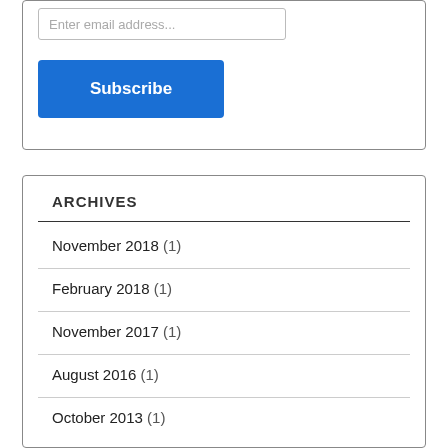Enter email address...
Subscribe
ARCHIVES
November 2018 (1)
February 2018 (1)
November 2017 (1)
August 2016 (1)
October 2013 (1)